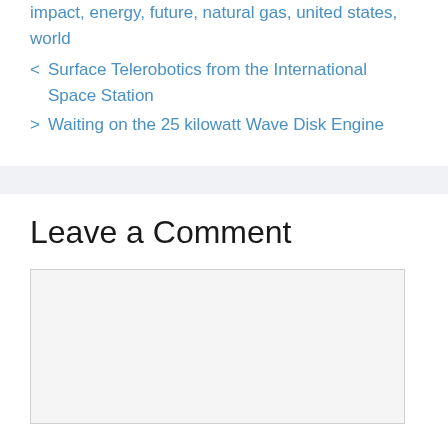impact, energy, future, natural gas, united states, world
< Surface Telerobotics from the International Space Station
> Waiting on the 25 kilowatt Wave Disk Engine
Leave a Comment